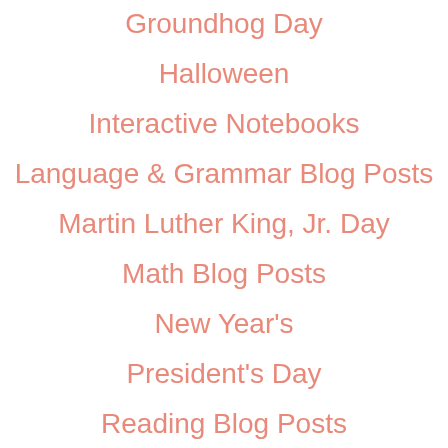Groundhog Day
Halloween
Interactive Notebooks
Language & Grammar Blog Posts
Martin Luther King, Jr. Day
Math Blog Posts
New Year's
President's Day
Reading Blog Posts
Science Blog Posts
Seasonal Holiday Blog Posts
Social Studies Blog Posts